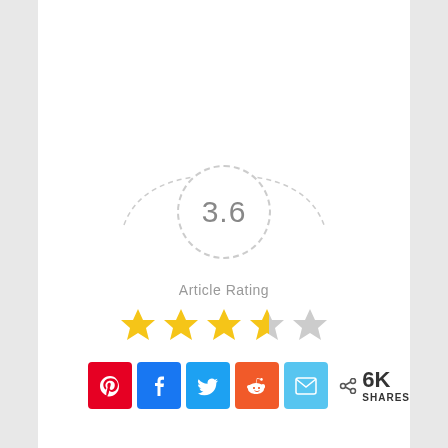[Figure (infographic): Article rating widget showing 3.6 out of 5, displayed in a dashed circle with 'Article Rating' label and 3.6 gold stars (3 full, 1 half, 1 empty). Below are 5 social share buttons (Pinterest, Facebook, Twitter, Reddit, Email) and a share count showing 6K SHARES.]